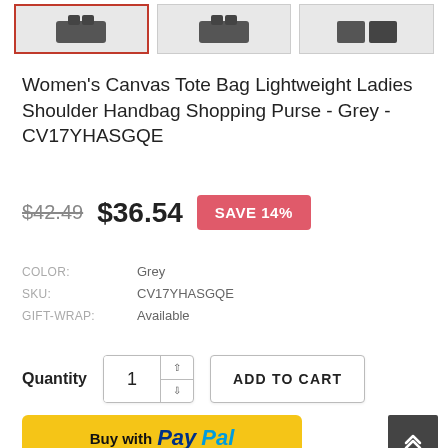[Figure (photo): Three product thumbnail images of a canvas tote bag. The first thumbnail has a red border (selected), the other two have grey borders.]
Women's Canvas Tote Bag Lightweight Ladies Shoulder Handbag Shopping Purse - Grey - CV17YHASGQE
$42.49 $36.54 SAVE 14%
COLOR: Grey
SKU: CV17YHASGQE
GIFT-WRAP: Available
Quantity 1 ADD TO CART
[Figure (screenshot): Buy with PayPal button (yellow background with PayPal logo text)]
[Figure (screenshot): Back to top button (dark grey square with upward chevron arrows)]